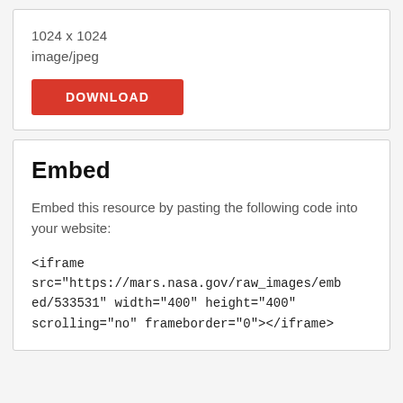1024 x 1024
image/jpeg
[Figure (other): Download button in red with white bold text 'DOWNLOAD']
Embed
Embed this resource by pasting the following code into your website:
<iframe src="https://mars.nasa.gov/raw_images/embed/533531" width="400" height="400" scrolling="no" frameborder="0"></iframe>